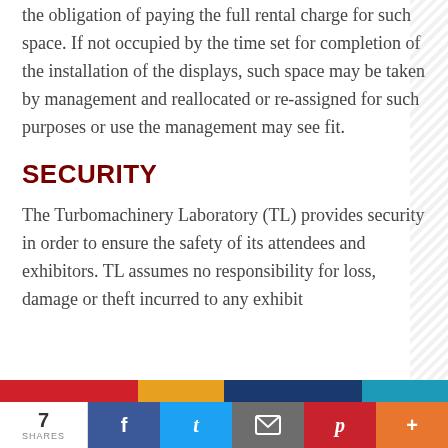the obligation of paying the full rental charge for such space. If not occupied by the time set for completion of the installation of the displays, such space may be taken by management and reallocated or re-assigned for such purposes or use the management may see fit.
SECURITY
The Turbomachinery Laboratory (TL) provides security in order to ensure the safety of its attendees and exhibitors. TL assumes no responsibility for loss, damage or theft incurred to any exhibit
7 SHARES